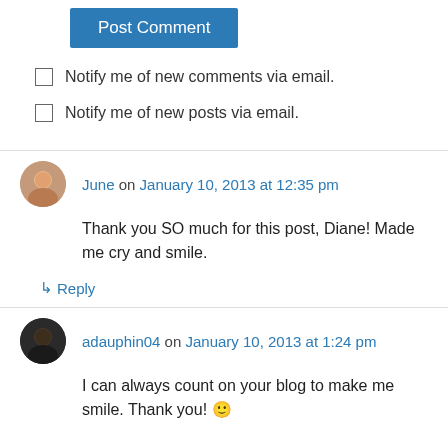Post Comment
Notify me of new comments via email.
Notify me of new posts via email.
June on January 10, 2013 at 12:35 pm
Thank you SO much for this post, Diane! Made me cry and smile.
↳ Reply
adauphin04 on January 10, 2013 at 1:24 pm
I can always count on your blog to make me smile. Thank you! 🙂